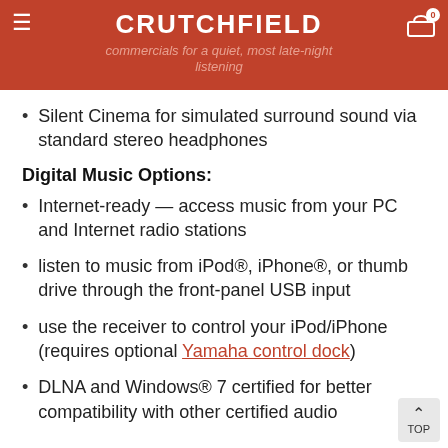CRUTCHFIELD — commercials for a quiet, most late-night listening
Silent Cinema for simulated surround sound via standard stereo headphones
Digital Music Options:
Internet-ready — access music from your PC and Internet radio stations
listen to music from iPod®, iPhone®, or thumb drive through the front-panel USB input
use the receiver to control your iPod/iPhone (requires optional Yamaha control dock)
DLNA and Windows® 7 certified for better compatibility with other certified audio